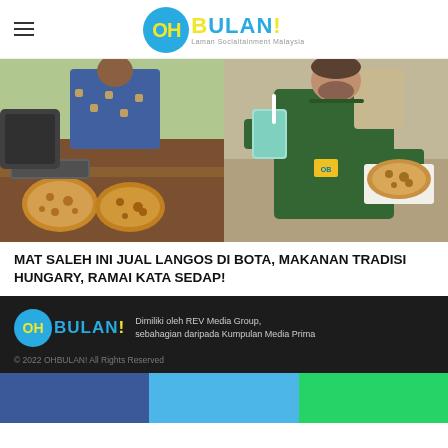OH BULAN! Laman Socialtainment Malaysia
[Figure (photo): Two photos side by side: left shows fried langos bread on a market stall with a vendor in blue batik shirt; right shows a Western man in green apron holding a drink and a piece of langos.]
MAT SALEH INI JUAL LANGOS DI BOTA, MAKANAN TRADISI HUNGARY, RAMAI KATA SEDAP!
Dimiliki oleh REV Media Group, sebahagian daripada Kumpulan Media Prima
© 2022 OHBULAN! All Rights Reserved